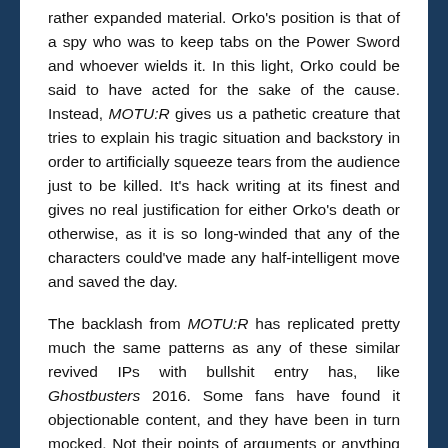rather expanded material. Orko's position is that of a spy who was to keep tabs on the Power Sword and whoever wields it. In this light, Orko could be said to have acted for the sake of the cause. Instead, MOTU:R gives us a pathetic creature that tries to explain his tragic situation and backstory in order to artificially squeeze tears from the audience just to be killed. It's hack writing at its finest and gives no real justification for either Orko's death or otherwise, as it is so long-winded that any of the characters could've made any half-intelligent move and saved the day.
The backlash from MOTU:R has replicated pretty much the same patterns as any of these similar revived IPs with bullshit entry has, like Ghostbusters 2016. Some fans have found it objectionable content, and they have been in turn mocked. Not their points of arguments or anything that could be considered constructive, but rather the customers themselves have been mocked and belittled in the